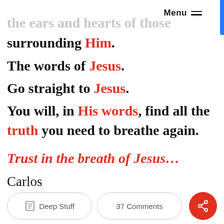Menu ≡
the ears and hearts of those surrounding Him. The words of Jesus. Go straight to Jesus. You will, in His words, find all the truth you need to breathe again.
Trust in the breath of Jesus…
Carlos
Deep Stuff  37 Comments